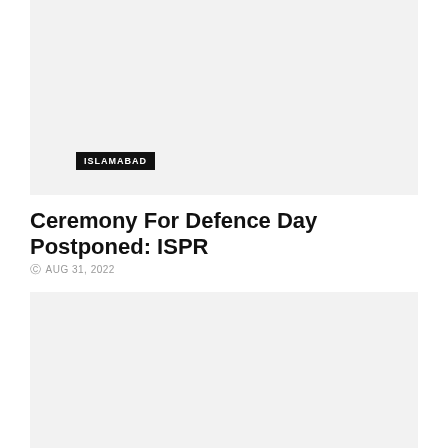[Figure (photo): Top image placeholder block with an ISLAMABAD tag label overlay]
Ceremony For Defence Day Postponed: ISPR
AUG 31, 2022
[Figure (photo): Bottom image placeholder block]